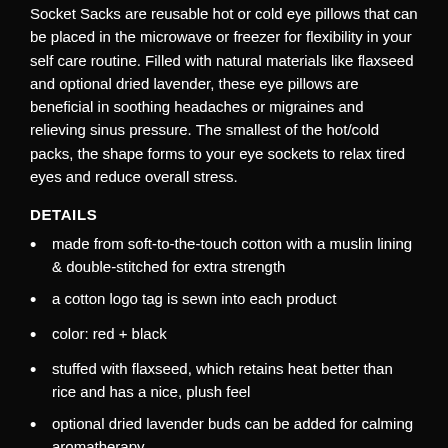Socket Sacks are reusable hot or cold eye pillows that can be placed in the microwave or freezer for flexibility in your self care routine. Filled with natural materials like flaxseed and optional dried lavender, these eye pillows are beneficial in soothing headaches or migraines and relieving sinus pressure. The smallest of the hot/cold packs, the shape forms to your eye sockets to relax tired eyes and reduce overall stress.
DETAILS
made from soft-to-the-touch cotton with a muslin lining & double-stitched for extra strength
a cotton logo tag is sewn into each product
color: red + black
stuffed with flaxseed, which retains heat better than rice and has a nice, plush feel
optional dried lavender buds can be added for calming aromatherapy